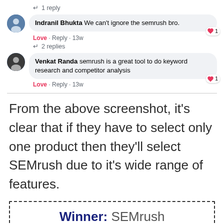↵ 1 reply
Indranil Bhukta We can't ignore the semrush bro. Love · Reply · 13w ❤ 1
↵ 2 replies
Venkat Randa semrush is a great tool to do keyword research and competitor analysis Love · Reply · 13w ❤ 1
From the above screenshot, it's clear that if they have to select only one product then they'll select SEMrush due to it's wide range of features.
Winner: SEMrush